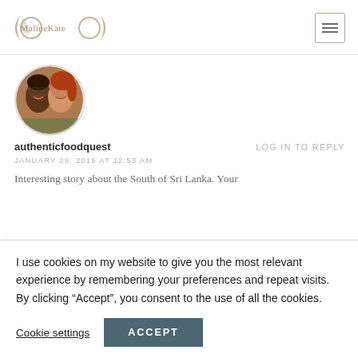MalineKate [logo] [menu icon]
[Figure (photo): Circular avatar photo of two smiling women, one with glasses]
authenticfoodquest   LOG IN TO REPLY
JANUARY 29, 2016 AT 12:53 AM
Interesting story about the South of Sri Lanka. Your
I use cookies on my website to give you the most relevant experience by remembering your preferences and repeat visits. By clicking “Accept”, you consent to the use of all the cookies.
Cookie settings   ACCEPT